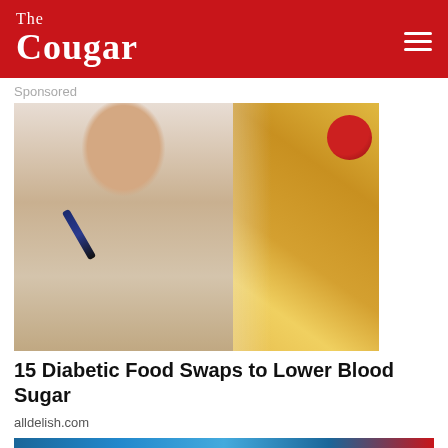The Cougar
Sponsored
[Figure (photo): Elderly man using a glucose meter/lancing device on his finger, with a plate of french fries and ketchup visible on the right side of the image.]
15 Diabetic Food Swaps to Lower Blood Sugar
alldelish.com
[Figure (photo): Advertisement banner for Neo apartment buildings — 1 & 2 Bedroom Apartments, Less than a 30 minute commute to UH, Luxury Amenities.]